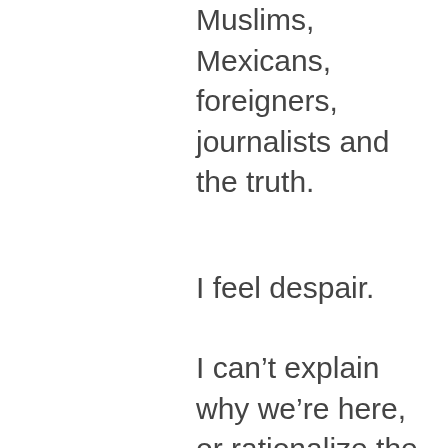Muslims, Mexicans, foreigners, journalists and the truth.
I feel despair.
I can’t explain why we’re here, or rationalize the “will of the people,” or suggest how to smooth this over, ride it out, be classy, look on the bright side, focus on the battles ahead or wish a bon voyage and smooth sailing